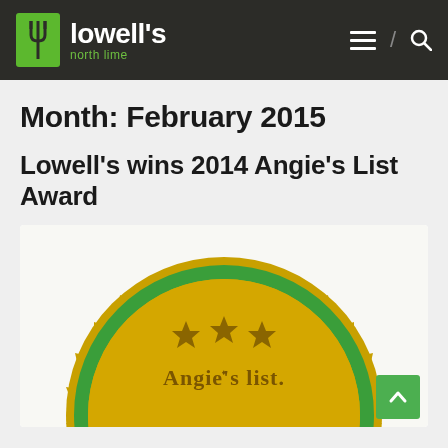lowell's north lime
Month: February 2015
Lowell's wins 2014 Angie's List Award
[Figure (illustration): Angie's List award badge — a large gold medallion with a green ring border, serrated gold edge, three gold stars at the top, and text reading 'Angie's list' in the center, with large partially-visible golden letters at the bottom suggesting 'SUPER SERVICE AWARD'.]